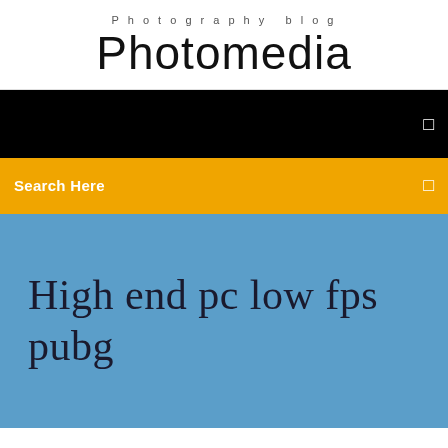Photography blog
Photomedia
[Figure (screenshot): Black navigation bar with a small white icon on the right side]
Search Here
High end pc low fps pubg